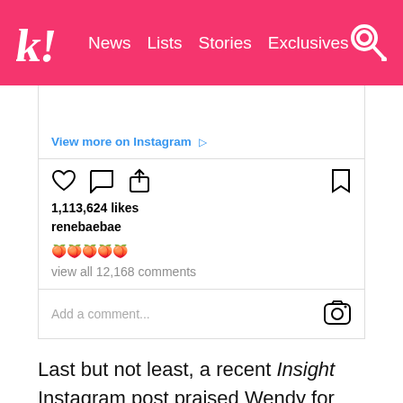k! News Lists Stories Exclusives
[Figure (screenshot): Instagram embed showing 1,113,624 likes for renebaebae with emoji caption and view all 12,168 comments link, plus Add a comment field with Instagram camera icon]
View more on Instagram
1,113,624 likes
renebaebae
view all 12,168 comments
Add a comment...
Last but not least, a recent Insight Instagram post praised Wendy for packing lunches for the